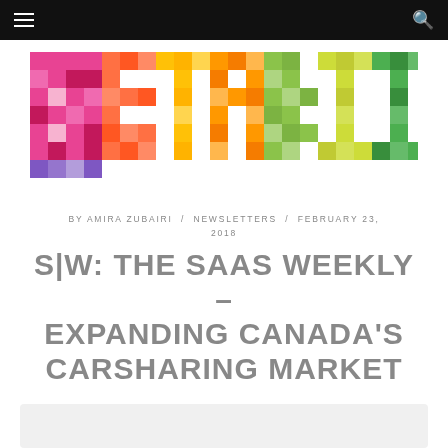Navigation bar with hamburger menu and search icon
[Figure (logo): BetaKit colorful pixel/mosaic logo with letters b-e-t-a-k-i-t in multicolored geometric blocks]
BY AMIRA ZUBAIRI / NEWSLETTERS / FEBRUARY 23, 2018
S|W: THE SAAS WEEKLY – EXPANDING CANADA'S CARSHARING MARKET
[Figure (photo): Partial bottom image, cropped]